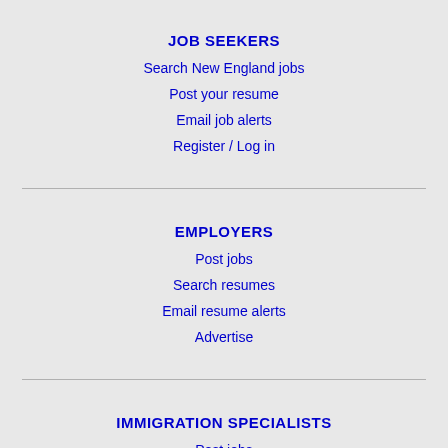JOB SEEKERS
Search New England jobs
Post your resume
Email job alerts
Register / Log in
EMPLOYERS
Post jobs
Search resumes
Email resume alerts
Advertise
IMMIGRATION SPECIALISTS
Post jobs
Immigration FAQs